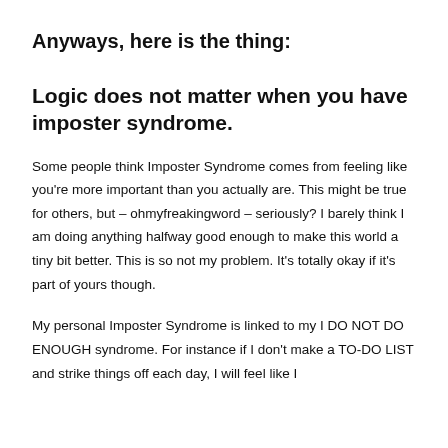Anyways, here is the thing:
Logic does not matter when you have imposter syndrome.
Some people think Imposter Syndrome comes from feeling like you're more important than you actually are. This might be true for others, but – ohmyfreakingword – seriously? I barely think I am doing anything halfway good enough to make this world a tiny bit better. This is so not my problem. It's totally okay if it's part of yours though.
My personal Imposter Syndrome is linked to my I DO NOT DO ENOUGH syndrome. For instance if I don't make a TO-DO LIST and strike things off each day, I will feel like I